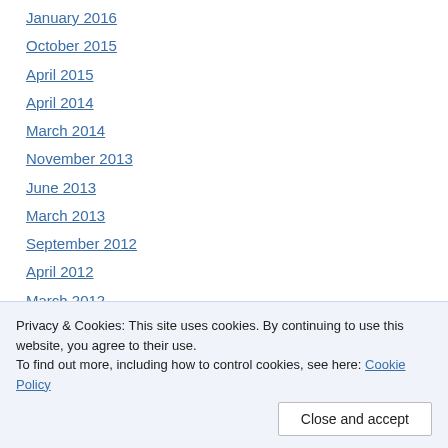January 2016
October 2015
April 2015
April 2014
March 2014
November 2013
June 2013
March 2013
September 2012
April 2012
March 2012
December 2011
November 2011
Privacy & Cookies: This site uses cookies. By continuing to use this website, you agree to their use. To find out more, including how to control cookies, see here: Cookie Policy